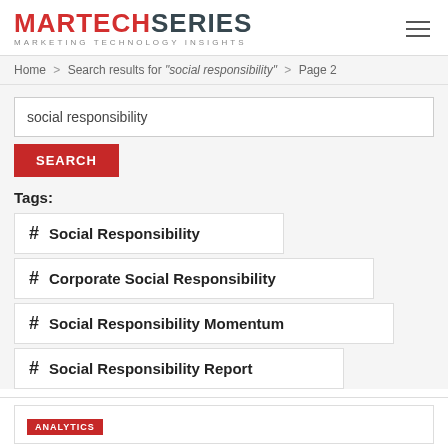MARTECHSERIES MARKETING TECHNOLOGY INSIGHTS
Home > Search results for "social responsibility" > Page 2
social responsibility
SEARCH
Tags:
# Social Responsibility
# Corporate Social Responsibility
# Social Responsibility Momentum
# Social Responsibility Report
ANALYTICS